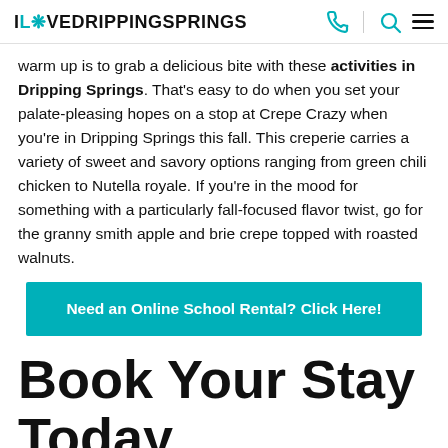ILOVEDRIPPINGSPRINGS
warm up is to grab a delicious bite with these activities in Dripping Springs. That's easy to do when you set your palate-pleasing hopes on a stop at Crepe Crazy when you're in Dripping Springs this fall. This creperie carries a variety of sweet and savory options ranging from green chili chicken to Nutella royale. If you're in the mood for something with a particularly fall-focused flavor twist, go for the granny smith apple and brie crepe topped with roasted walnuts.
[Figure (infographic): Teal/cyan banner button with white bold text: Need an Online School Rental? Click Here!]
Book Your Stay Today
When a trip to Dripping Springs sounds like just the right choice, the dates have come upon you with The top-notch...